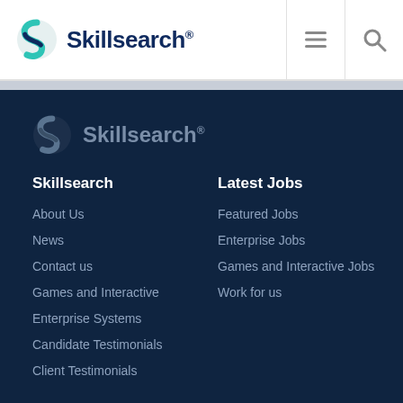Skillsearch®
[Figure (logo): Skillsearch logo with teal/blue S icon and dark navy bold text 'Skillsearch®' in the page header]
[Figure (logo): Skillsearch logo in muted blue-grey tones on dark navy footer background]
Skillsearch
About Us
News
Contact us
Games and Interactive
Enterprise Systems
Candidate Testimonials
Client Testimonials
Latest Jobs
Featured Jobs
Enterprise Jobs
Games and Interactive Jobs
Work for us